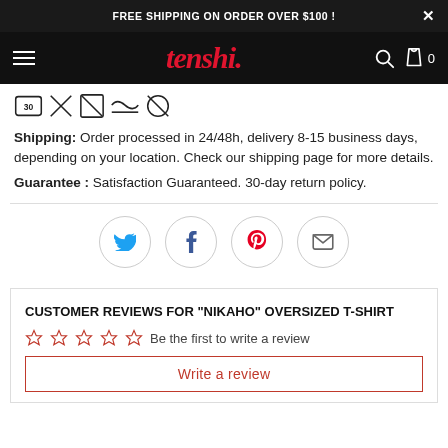FREE SHIPPING ON ORDER OVER $100 !
[Figure (logo): Tenshi brand logo in red italic font on black navigation bar with hamburger menu, search icon, and cart with 0 items]
[Figure (infographic): Clothing care symbols: wash 30 degrees, do not bleach, do not tumble dry, iron, do not dry clean]
Shipping: Order processed in 24/48h, delivery 8-15 business days, depending on your location. Check our shipping page for more details.
Guarantee : Satisfaction Guaranteed. 30-day return policy.
[Figure (infographic): Social share buttons: Twitter (blue bird), Facebook (blue f), Pinterest (red P), Email (envelope) — each in a circular border]
CUSTOMER REVIEWS FOR "NIKAHO" OVERSIZED T-SHIRT
Be the first to write a review
Write a review